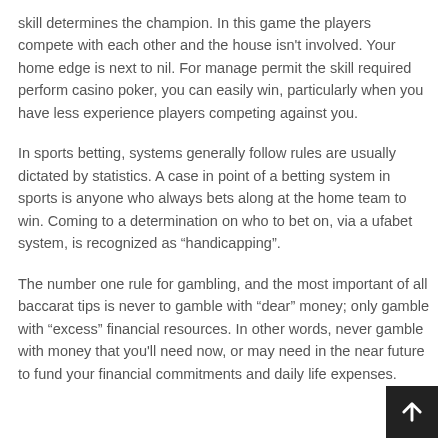skill determines the champion. In this game the players compete with each other and the house isn't involved. Your home edge is next to nil. For manage permit the skill required perform casino poker, you can easily win, particularly when you have less experience players competing against you.
In sports betting, systems generally follow rules are usually dictated by statistics. A case in point of a betting system in sports is anyone who always bets along at the home team to win. Coming to a determination on who to bet on, via a ufabet system, is recognized as “handicapping”.
The number one rule for gambling, and the most important of all baccarat tips is never to gamble with “dear” money; only gamble with “excess” financial resources. In other words, never gamble with money that you'll need now, or may need in the near future to fund your financial commitments and daily life expenses.